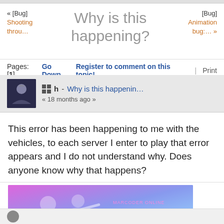« [Bug] Shooting throu… | Why is this happening? | [Bug] Animation bug:… »
Pages: [1]  Go Down  Register to comment on this topic!  Print
h - Why is this happenin… « 18 months ago »
This error has been happening to me with the vehicles, to each server I enter to play that error appears and I do not understand why. Does anyone know why that happens?
[Figure (illustration): Banner image with pink/blue gradient background showing stylized anime-like character figures with text 'MARCODER' and '#R3Volution']
R3Volution Since 2006 | VC:MP Scripter | Savage Sea Developer